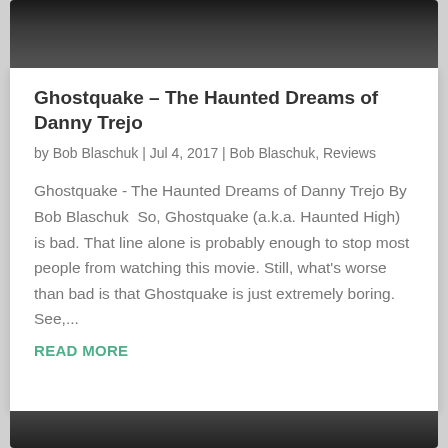[Figure (photo): Dark cropped photo at top of page, partially visible]
Ghostquake – The Haunted Dreams of Danny Trejo
by Bob Blaschuk | Jul 4, 2017 | Bob Blaschuk, Reviews
Ghostquake - The Haunted Dreams of Danny Trejo By Bob Blaschuk  So, Ghostquake (a.k.a. Haunted High) is bad. That line alone is probably enough to stop most people from watching this movie. Still, what's worse than bad is that Ghostquake is just extremely boring. See,...
READ MORE
[Figure (photo): Dark cropped photo at bottom of page, partially visible]